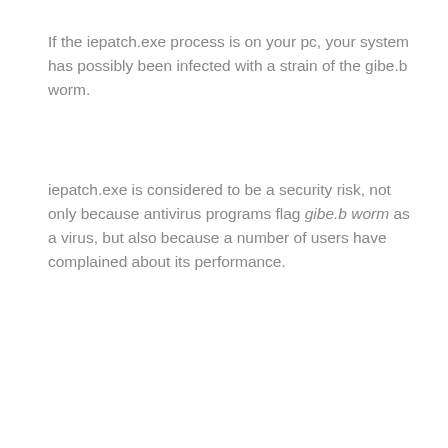If the iepatch.exe process is on your pc, your system has possibly been infected with a strain of the gibe.b worm.
iepatch.exe is considered to be a security risk, not only because antivirus programs flag gibe.b worm as a virus, but also because a number of users have complained about its performance.